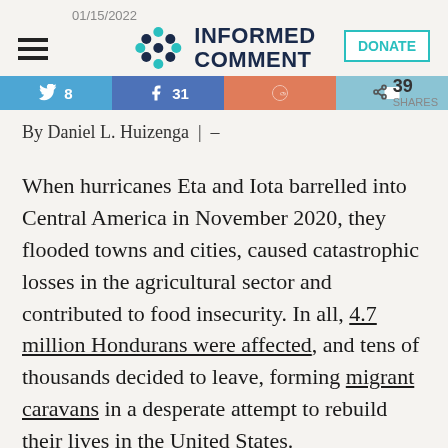01/15/2022 — Informed Comment — DONATE — 39 SHARES
By Daniel L. Huizenga | –
When hurricanes Eta and Iota barrelled into Central America in November 2020, they flooded towns and cities, caused catastrophic losses in the agricultural sector and contributed to food insecurity. In all, 4.7 million Hondurans were affected, and tens of thousands decided to leave, forming migrant caravans in a desperate attempt to rebuild their lives in the United States.